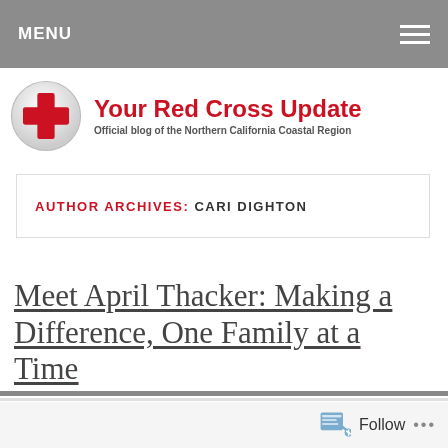MENU
Your Red Cross Update – Official blog of the Northern California Coastal Region
AUTHOR ARCHIVES: CARI DIGHTON
Meet April Thacker: Making a Difference, One Family at a Time
Follow ...